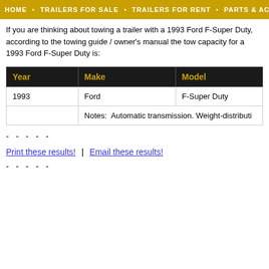HOME  ∨  TRAILERS FOR SALE  ∨  TRAILERS FOR RENT  ∨  PARTS & ACCES
If you are thinking about towing a trailer with a 1993 Ford F-Super Duty, according to the towing guide / owner's manual the tow capacity for a 1993 Ford F-Super Duty is:
| Year | Make | Model |
| --- | --- | --- |
| 1993 | Ford | F-Super Duty |
|  | Notes:  Automatic transmission. Weight-distributi |  |
- - - - -
Print these results!  |  Email these results!
- - - - -